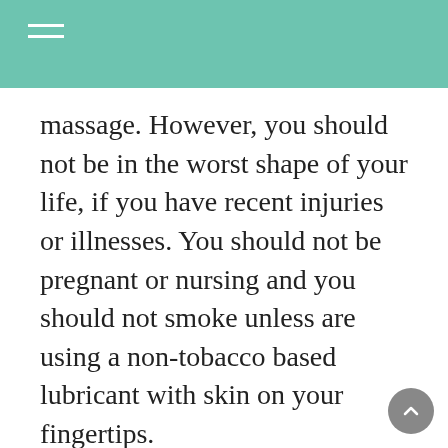massage. However, you should not be in the worst shape of your life, if you have recent injuries or illnesses. You should not be pregnant or nursing and you should not smoke unless are using a non-tobacco based lubricant with skin on your fingertips.
Thai massage Therapists are trained to become very gentle and quiet. There should be no discomfort or pain due to the techniques. Thai massage therapists use only very smooth, clean tools. {They employ only very soft and{ very|| extremely} clean towels,